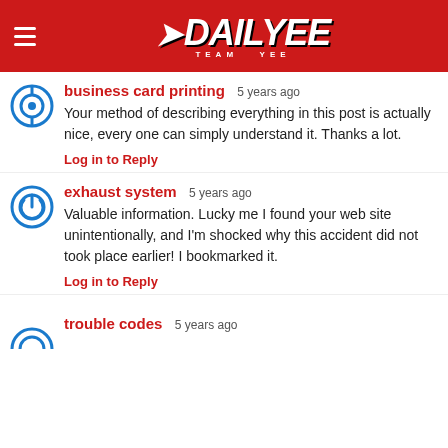DAILYEE TEAM YEE
business card printing  5 years ago
Your method of describing everything in this post is actually nice, every one can simply understand it. Thanks a lot.
Log in to Reply
exhaust system  5 years ago
Valuable information. Lucky me I found your web site unintentionally, and I'm shocked why this accident did not took place earlier! I bookmarked it.
Log in to Reply
trouble codes  5 years ago